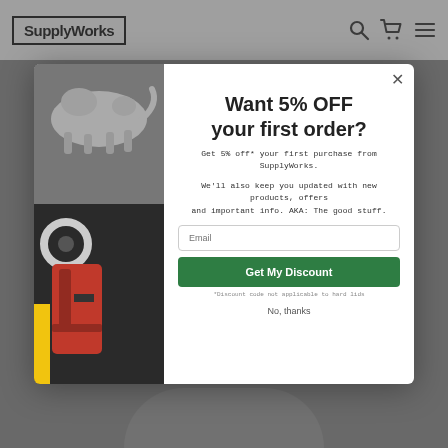SupplyWorks
[Figure (screenshot): Modal popup overlay on a retail website. Left half shows a photo of a cat walking on a surface and below it a red power tool with yellow strip and tape roll. Right half is a white promotional popup.]
Want 5% OFF your first order?
Get 5% off* your first purchase from SupplyWorks.
We'll also keep you updated with new products, offers and important info. AKA: The good stuff.
Email
Get My Discount
*Discount code not applicable to hard lids
No, thanks